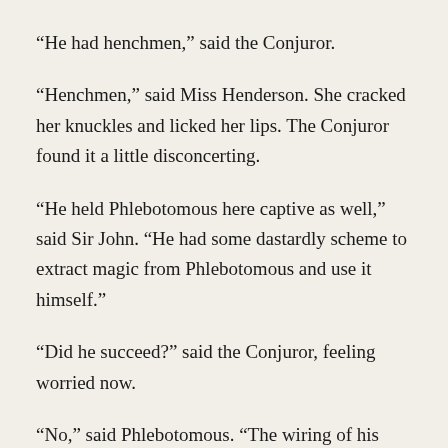“He had henchmen,” said the Conjuror.
“Henchmen,” said Miss Henderson. She cracked her knuckles and licked her lips. The Conjuror found it a little disconcerting.
“He held Phlebotomous here captive as well,” said Sir John. “He had some dastardly scheme to extract magic from Phlebotomous and use it himself.”
“Did he succeed?” said the Conjuror, feeling worried now.
“No,” said Phlebotomous. “The wiring of his device was all wrong, it needed much more power than he had, and I’m not even sure what he was going to attempt was possible.”